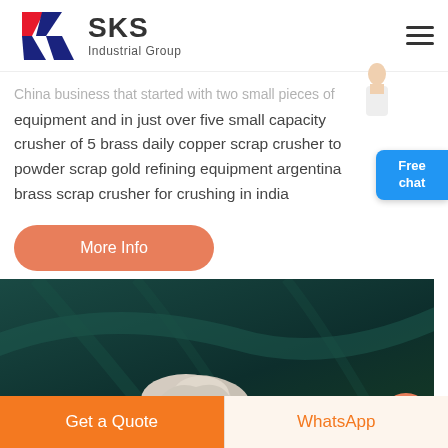[Figure (logo): SKS Industrial Group logo with red and blue K letter mark and brand name text]
equipment and in just over five small capacity crusher of 5 brass daily copper scrap crusher to powder scrap gold refining equipment argentina brass scrap crusher for crushing in india
[Figure (other): Free chat button with person icon on right side]
[Figure (photo): Product image showing rocks/stone material on dark teal background with orange circle element]
Get a Quote | WhatsApp